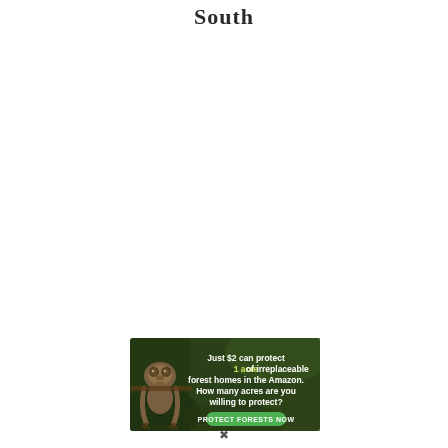South
[Figure (illustration): Advertisement banner for forest conservation. Dark green forest background with a sloth animal image on the left. Text reads: 'Just $2 can protect 1 acre of irreplaceable forest homes in the Amazon. How many acres are you willing to protect?' with a green 'PROTECT FORESTS NOW' button.]
X